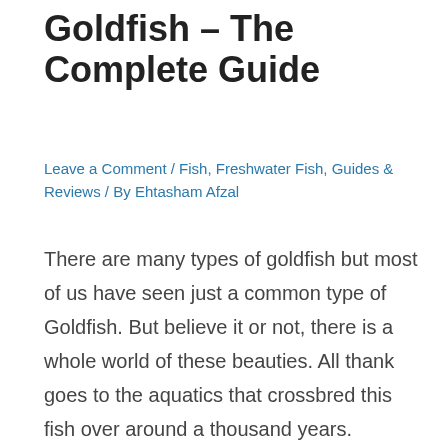Goldfish – The Complete Guide
Leave a Comment / Fish, Freshwater Fish, Guides & Reviews / By Ehtasham Afzal
There are many types of goldfish but most of us have seen just a common type of Goldfish. But believe it or not, there is a whole world of these beauties. All thank goes to the aquatics that crossbred this fish over around a thousand years.